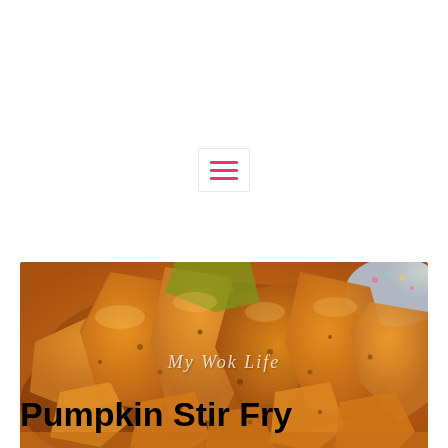[Figure (other): Hamburger menu icon with three pink horizontal lines inside a light gray border box]
[Figure (photo): Close-up photo of pumpkin stir fry pieces, golden-orange chunks of cooked pumpkin with seasoning, with 'My Wok Life' watermark text overlaid in white italic script]
Pumpkin Stir Fry